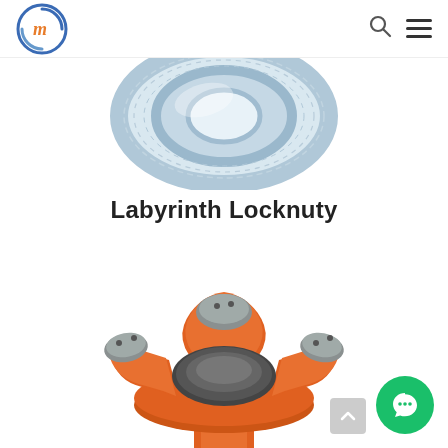Navigation header with logo and menu icons
[Figure (photo): A metallic bearing ring/locknut component photographed from above, showing concentric silver metal ring with threaded interior, partially cropped at top of page]
Labyrinth Locknuty
[Figure (photo): Orange-painted Labyrinth Locknut component with three-pronged/lobe design, industrial mechanical part photographed showing the top and interior with metallic grey center bearing area]